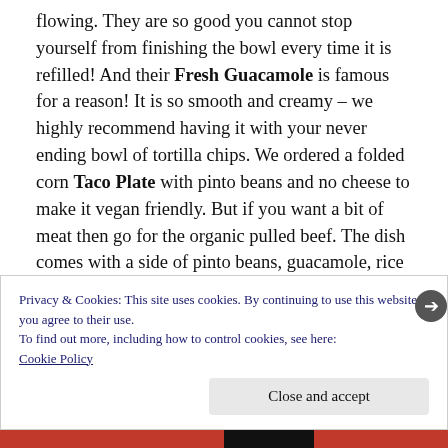flowing. They are so good you cannot stop yourself from finishing the bowl every time it is refilled! And their Fresh Guacamole is famous for a reason! It is so smooth and creamy – we highly recommend having it with your never ending bowl of tortilla chips. We ordered a folded corn Taco Plate with pinto beans and no cheese to make it vegan friendly. But if you want a bit of meat then go for the organic pulled beef. The dish comes with a side of pinto beans, guacamole, rice (which you can ask to be swopped for veggies) and cooked peppers.
Privacy & Cookies: This site uses cookies. By continuing to use this website, you agree to their use.
To find out more, including how to control cookies, see here:
Cookie Policy
Close and accept